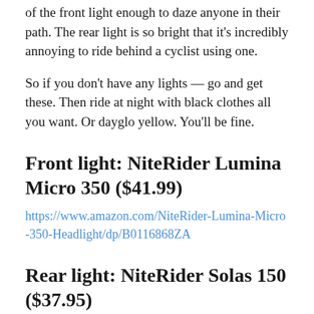of the front light enough to daze anyone in their path. The rear light is so bright that it’s incredibly annoying to ride behind a cyclist using one.
So if you don’t have any lights — go and get these. Then ride at night with black clothes all you want. Or dayglo yellow. You’ll be fine.
Front light: NiteRider Lumina Micro 350 ($41.99)
https://www.amazon.com/NiteRider-Lumina-Micro-350-Headlight/dp/B0116868ZA
Rear light: NiteRider Solas 150 ($37.95)
https://www.amazon.com/NiteRider-Solas-Tail-Light-Black/dp/B01HEE66IS